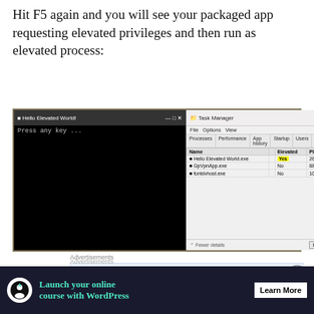Hit F5 again and you will see your packaged app requesting elevated privileges and then run as elevated process:
[Figure (screenshot): Two windows shown side by side: a black console window titled 'Hello Elevated World!' showing 'Press any key ...' text, and a Task Manager window showing processes with columns Name, Elevated, PID. Hello Elevated World.exe is shown with 'Yes' highlighted in yellow in the Elevated column and PID 2692. GpVpnApp.exe and fontdvhost.exe show No in the Elevated column.]
Advertisements
[Figure (infographic): Advertisement: Build a writing habit. Post on the go. GET THE APP [WordPress logo]]
And we are done! You have now implemented your first
Advertisements
[Figure (infographic): Advertisement: Launch your online course with WordPress. Learn More.]